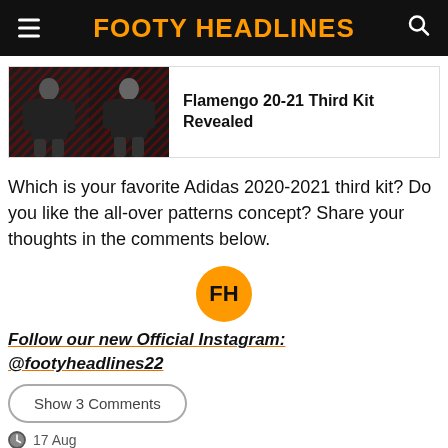FOOTY HEADLINES
[Figure (photo): Article card thumbnail: two soccer players (male and female) wearing Flamengo dark third kit with red diagonal pattern]
Flamengo 20-21 Third Kit Revealed
Which is your favorite Adidas 2020-2021 third kit? Do you like the all-over patterns concept? Share your thoughts in the comments below.
[Figure (logo): FH orange circle logo with letters FH]
Follow our new Official Instagram: @footyheadlines22
Show 3 Comments
17 Aug